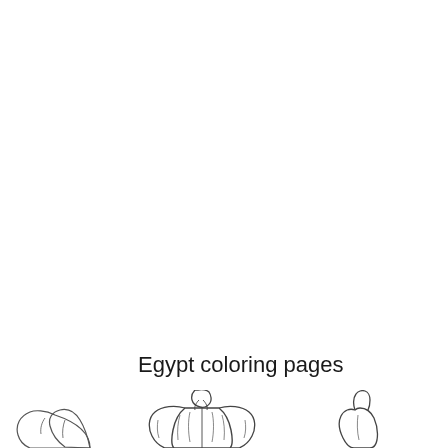Egypt coloring pages
[Figure (illustration): Partial view of coloring page illustrations showing figures in Egyptian-themed clothing, cropped at the bottom of the page. Three partial figures visible: left figure shows shoulders/back area, center figure shows a person in a large jacket/shirt with collar, right figure shows a partial silhouette. All drawn in simple black outline sketch style typical of coloring pages.]